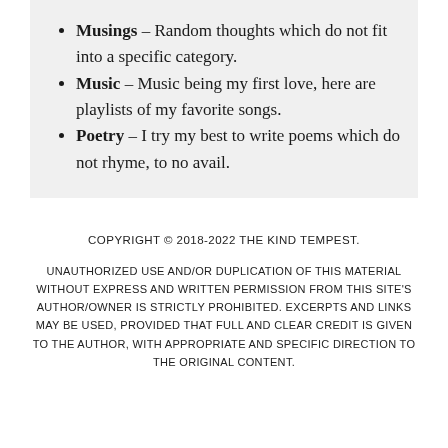Musings – Random thoughts which do not fit into a specific category.
Music – Music being my first love, here are playlists of my favorite songs.
Poetry – I try my best to write poems which do not rhyme, to no avail.
COPYRIGHT © 2018-2022 THE KIND TEMPEST.
UNAUTHORIZED USE AND/OR DUPLICATION OF THIS MATERIAL WITHOUT EXPRESS AND WRITTEN PERMISSION FROM THIS SITE'S AUTHOR/OWNER IS STRICTLY PROHIBITED. EXCERPTS AND LINKS MAY BE USED, PROVIDED THAT FULL AND CLEAR CREDIT IS GIVEN TO THE AUTHOR, WITH APPROPRIATE AND SPECIFIC DIRECTION TO THE ORIGINAL CONTENT.